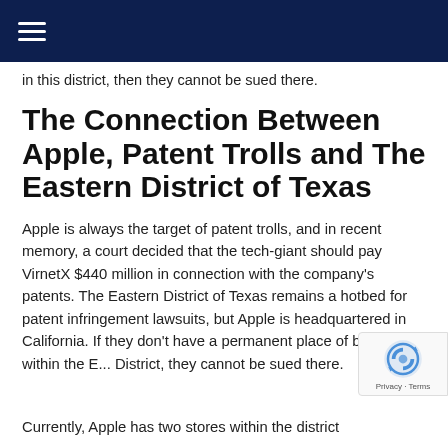in this district, then they cannot be sued there.
The Connection Between Apple, Patent Trolls and The Eastern District of Texas
Apple is always the target of patent trolls, and in recent memory, a court decided that the tech-giant should pay VirnetX $440 million in connection with the company's patents. The Eastern District of Texas remains a hotbed for patent infringement lawsuits, but Apple is headquartered in California. If they don't have a permanent place of business within the E... District, they cannot be sued there.
Currently, Apple has two stores within the district